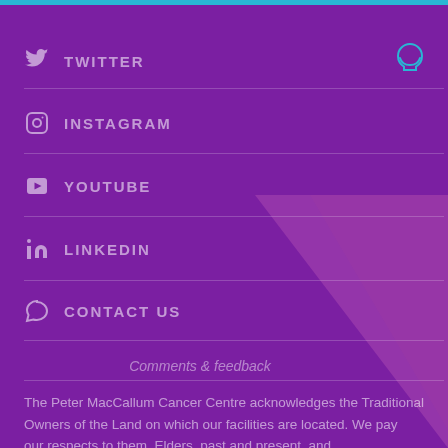TWITTER
INSTAGRAM
YOUTUBE
LINKEDIN
CONTACT US
Comments & feedback
The Peter MacCallum Cancer Centre acknowledges the Traditional Owners of the Land on which our facilities are located. We pay our respects to them. Elders, past and present, and acknowledge their continuing...